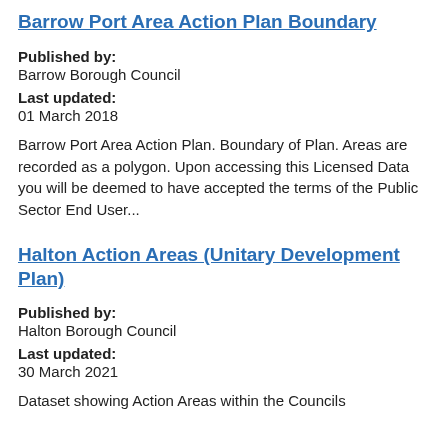Barrow Port Area Action Plan Boundary
Published by:
Barrow Borough Council
Last updated:
01 March 2018
Barrow Port Area Action Plan. Boundary of Plan. Areas are recorded as a polygon. Upon accessing this Licensed Data you will be deemed to have accepted the terms of the Public Sector End User...
Halton Action Areas (Unitary Development Plan)
Published by:
Halton Borough Council
Last updated:
30 March 2021
Dataset showing Action Areas within the Councils